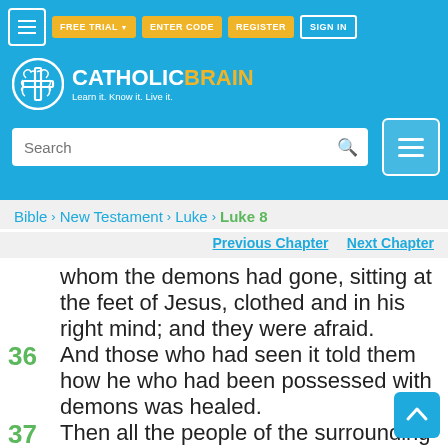[Figure (logo): CatholicBrain logo with brain/cross icon, tagline: Learn it. Know it. Live it.]
FREE TRIAL  ENTER CODE  REGISTER  SIGN IN
Search
Bible > New Testament > Luke > Luke 8
Previous Chapter  Next Chapter
whom the demons had gone, sitting at the feet of Jesus, clothed and in his right mind; and they were afraid.
36 And those who had seen it told them how he who had been possessed with demons was healed.
37 Then all the people of the surrounding country of the